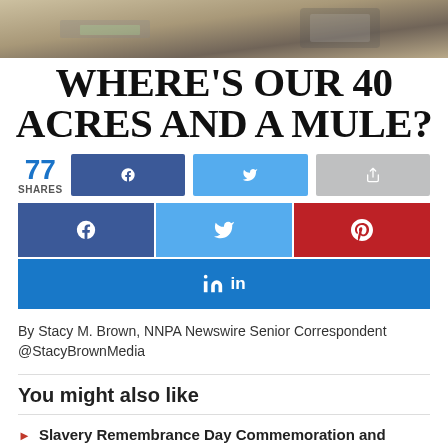[Figure (photo): Top banner image showing hands and money, partially visible at top of page]
WHERE'S OUR 40 ACRES AND A MULE?
77 SHARES
[Figure (infographic): Social share buttons: Facebook (dark blue), Twitter (light blue), Share (grey) — small row; then large Facebook, Twitter, Pinterest buttons; then full-width LinkedIn button]
By Stacy M. Brown, NNPA Newswire Senior Correspondent
@StacyBrownMedia
You might also like
Slavery Remembrance Day Commemoration and Legislative Update Hosted by Congressman Al Green